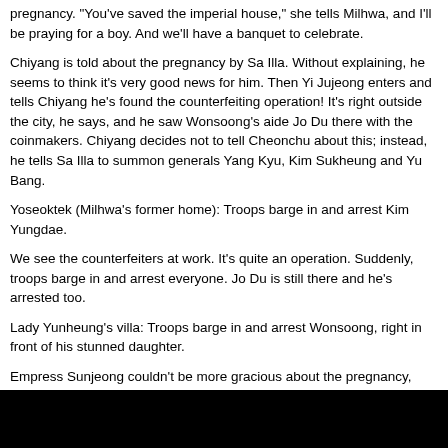pregnancy. "You've saved the imperial house," she tells Milhwa, and I'll be praying for a boy. And we'll have a banquet to celebrate.
Chiyang is told about the pregnancy by Sa Illa. Without explaining, he seems to think it's very good news for him. Then Yi Jujeong enters and tells Chiyang he's found the counterfeiting operation! It's right outside the city, he says, and he saw Wonsoong's aide Jo Du there with the coinmakers. Chiyang decides not to tell Cheonchu about this; instead, he tells Sa Illa to summon generals Yang Kyu, Kim Sukheung and Yu Bang.
Yoseoktek (Milhwa's former home): Troops barge in and arrest Kim Yungdae.
We see the counterfeiters at work. It's quite an operation. Suddenly, troops barge in and arrest everyone. Jo Du is still there and he's arrested too.
Lady Yunheung's villa: Troops barge in and arrest Wonsoong, right in front of his stunned daughter.
Empress Sunjeong couldn't be more gracious about the pregnancy, telling Milhwa she's been anxious about the lack of an heir and "You've relieved my burden." Then Cheonchu tells Mokjong she'll be terminating her regency upon the child's birth, because now she has faith in his ability to lead the state. Great news for Mokjong; free at least. But then, from outside, we hear a commotion. The four go outside and find troops arresting Milhwa's maidservant. Who ordered this? Mokjong and